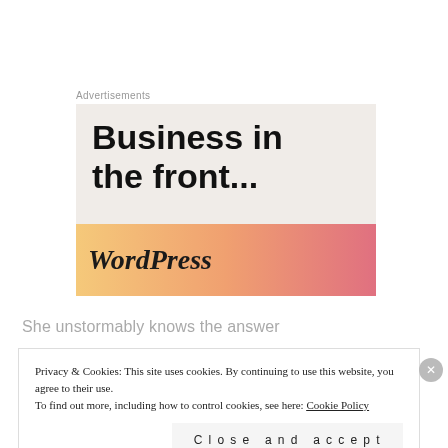Advertisements
[Figure (illustration): WordPress advertisement banner with bold text 'Business in the front...' on a light beige background, and a gradient orange-pink footer bar with 'WordPress' in italic serif font.]
She unstormably knows the answer
Privacy & Cookies: This site uses cookies. By continuing to use this website, you agree to their use.
To find out more, including how to control cookies, see here: Cookie Policy
Close and accept